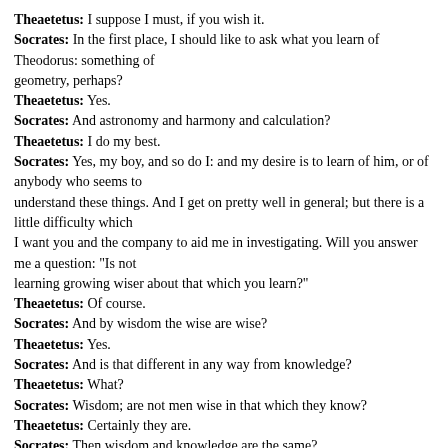Theaetetus: I suppose I must, if you wish it.
Socrates: In the first place, I should like to ask what you learn of Theodorus: something of geometry, perhaps?
Theaetetus: Yes.
Socrates: And astronomy and harmony and calculation?
Theaetetus: I do my best.
Socrates: Yes, my boy, and so do I: and my desire is to learn of him, or of anybody who seems to understand these things. And I get on pretty well in general; but there is a little difficulty which I want you and the company to aid me in investigating. Will you answer me a question: "Is not learning growing wiser about that which you learn?"
Theaetetus: Of course.
Socrates: And by wisdom the wise are wise?
Theaetetus: Yes.
Socrates: And is that different in any way from knowledge?
Theaetetus: What?
Socrates: Wisdom; are not men wise in that which they know?
Theaetetus: Certainly they are.
Socrates: Then wisdom and knowledge are the same?
Theaetetus: Yes.
Socrates: Herein lies the difficulty which I can never solve to my satisfaction- What is knowledge? Can we answer that question? What say you? which of us will speak first?